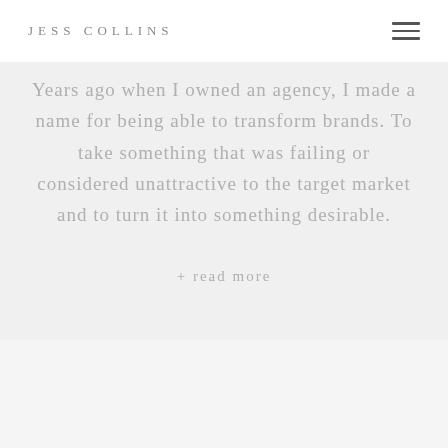JESS COLLINS
Years ago when I owned an agency, I made a name for being able to transform brands. To take something that was failing or considered unattractive to the target market and to turn it into something desirable.
+ read more